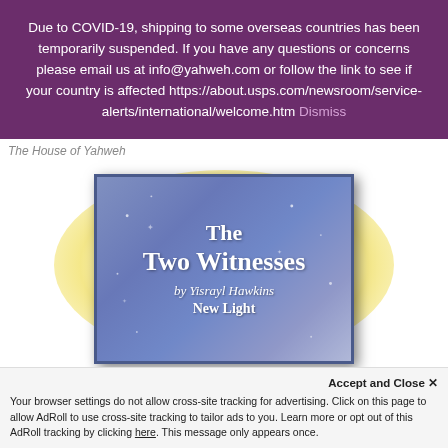Due to COVID-19, shipping to some overseas countries has been temporarily suspended. If you have any questions or concerns please email us at info@yahweh.com or follow the link to see if your country is affected https://about.usps.com/newsroom/service-alerts/international/welcome.htm Dismiss
The House of Yahweh
[Figure (illustration): Book cover for 'The Two Witnesses by Yisrayl Hawkins New Light' shown against a glowing yellow background. The cover has a blue-purple gradient background with white serif text.]
Accept and Close ✕
Your browser settings do not allow cross-site tracking for advertising. Click on this page to allow AdRoll to use cross-site tracking to tailor ads to you. Learn more or opt out of this AdRoll tracking by clicking here. This message only appears once.